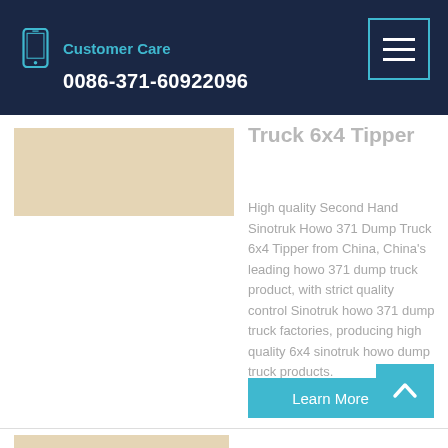Customer Care
0086-371-60922096
[Figure (screenshot): Product image placeholder for Second Hand Sinotruk Howo 371 Dump Truck 6x4 Tipper]
Truck 6x4 Tipper
High quality Second Hand Sinotruk Howo 371 Dump Truck 6x4 Tipper from China, China's leading howo 371 dump truck product, with strict quality control Sinotruk howo 371 dump truck factories, producing high quality 6x4 sinotruk howo dump truck products.
Learn More
[Figure (screenshot): Bottom partial product card image placeholder]